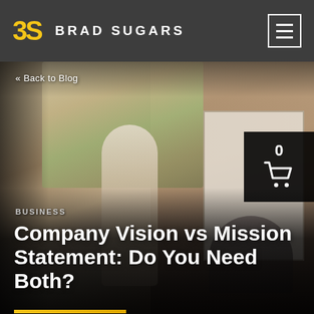BRAD SUGARS
« Back to Blog
[Figure (photo): A man presenting at a whiteboard covered with sticky notes in a brick-walled workspace, with another person seated in the background]
BUSINESS
Company Vision vs Mission Statement: Do You Need Both?